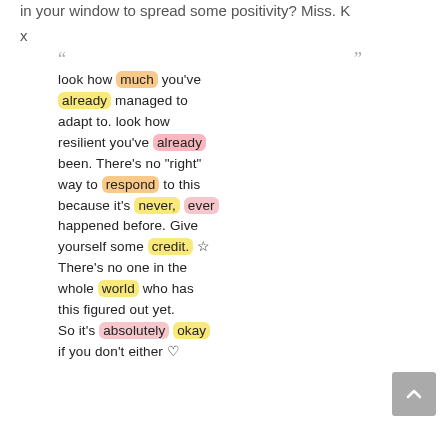in your window to spread some positivity? Miss. K
x
[Figure (illustration): Hand-lettered inspirational quote with coloured highlighted words on white background: 'look how much you've already managed to adapt to. look how resilient you've already been. There's no "right" way to respond to this because it's never, ever happened before. Give yourself some credit. ☆ There's no one in the whole world who has this figured out yet. So it's absolutely okay if you don't either ♡']